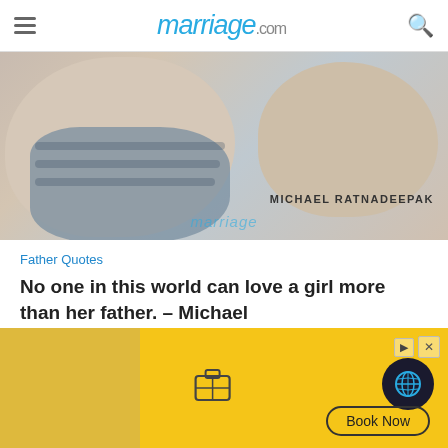marriage.com
[Figure (photo): Close-up photo of a baby in a striped blue shirt with watermark 'marriage' and text 'MICHAEL RATNADEEPAK' overlaid]
Father Quotes
No one in this world can love a girl more than her father. – Michael
[Figure (infographic): Social share buttons: Facebook, WhatsApp, Pinterest, and More (+)]
[Figure (infographic): Advertisement banner with yellow background showing a suitcase icon, travel globe badge, and Book Now button]